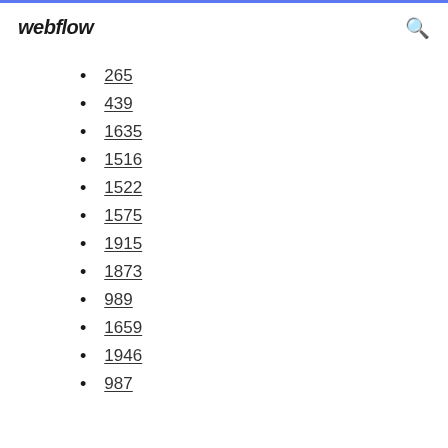webflow
265
439
1635
1516
1522
1575
1915
1873
989
1659
1946
987